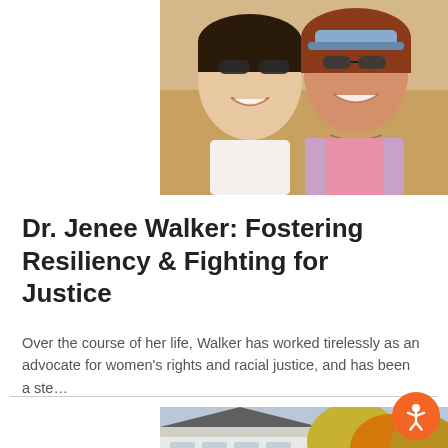[Figure (photo): Two women smiling together at a beach, taking a selfie. The woman on the left wears a white top and sunglasses. The woman on the right wears a pink top, light purple zip-up hoodie, a visor and sunglasses. Sandy beach visible in background.]
Dr. Jenee Walker: Fostering Resiliency & Fighting for Justice
Over the course of her life, Walker has worked tirelessly as an advocate for women's rights and racial justice, and has been a ste…
[Figure (photo): Partial view of a white house or building with trees showing autumn foliage in the foreground.]